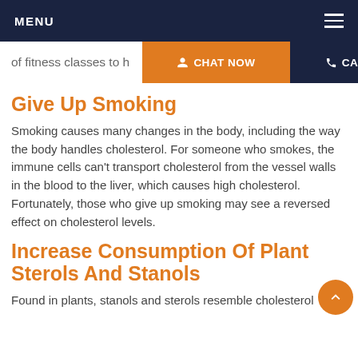MENU
of fitness classes to h...
CHAT NOW   CALL NOW
Give Up Smoking
Smoking causes many changes in the body, including the way the body handles cholesterol. For someone who smokes, the immune cells can't transport cholesterol from the vessel walls in the blood to the liver, which causes high cholesterol. Fortunately, those who give up smoking may see a reversed effect on cholesterol levels.
Increase Consumption Of Plant Sterols And Stanols
Found in plants, stanols and sterols resemble cholesterol